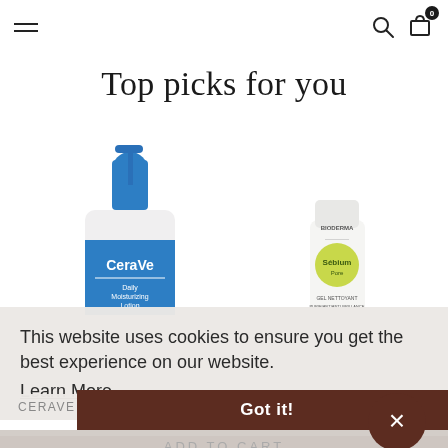Navigation bar with hamburger menu, search icon, and cart (0 items)
Top picks for you
[Figure (photo): CeraVe Daily Moisturizing Lotion pump bottle with blue cap]
[Figure (photo): Bioderma Sebium tube product]
This website uses cookies to ensure you get the best experience on our website. Learn More
CERAVE
BIODERMA
Got it!
ADD TO CART